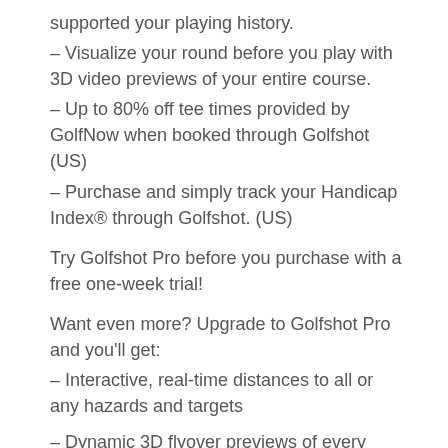supported your playing history.
– Visualize your round before you play with 3D video previews of your entire course.
– Up to 80% off tee times provided by GolfNow when booked through Golfshot (US)
– Purchase and simply track your Handicap Index® through Golfshot. (US)
Try Golfshot Pro before you purchase with a free one-week trial!
Want even more? Upgrade to Golfshot Pro and you'll get:
– Interactive, real-time distances to all or any hazards and targets
– Dynamic 3D flyover previews of every hole to assist with golf links strategy
– Personalized club recommendations supported your statistics
– Save an additional $20 off a Hot Deal tee time provided by GolfNow (US)